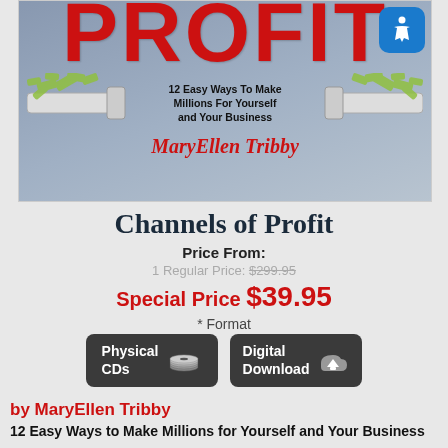[Figure (illustration): Book cover for 'Channels of Profit' by MaryEllen Tribby showing the word PROFIT in large red text, two pipes with money flying out, and subtitle '12 Easy Ways To Make Millions For Yourself and Your Business'. An accessibility icon appears in the top-right corner.]
Channels of Profit
Price From:
1 Regular Price: $299.95
Special Price $39.95
* Format
[Figure (infographic): Two dark buttons: 'Physical CDs' with CD icon and 'Digital Download' with cloud download icon]
by MaryEllen Tribby
12 Easy Ways to Make Millions for Yourself and Your Business